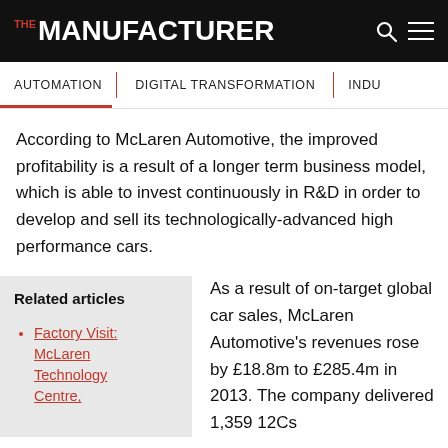THE MANUFACTURER
AUTOMATION | DIGITAL TRANSFORMATION | INDU...
According to McLaren Automotive, the improved profitability is a result of a longer term business model, which is able to invest continuously in R&D in order to develop and sell its technologically-advanced high performance cars.
Related articles
Factory Visit: McLaren Technology Centre,
As a result of on-target global car sales, McLaren Automotive's revenues rose by £18.8m to £285.4m in 2013. The company delivered 1,359 12Cs